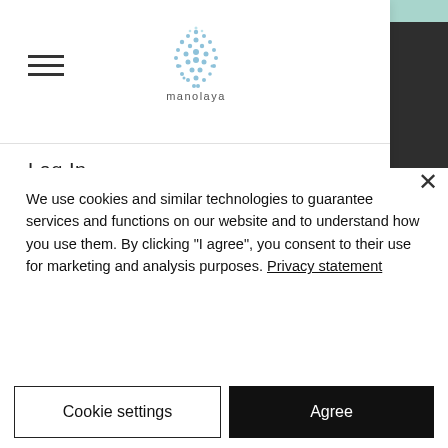[Figure (logo): Manolaya logo: circular blue dotted water drop shape with 'manolaya' text below]
Log In
DO NOT HESITATE TO GET IN TOUCH
info@manolaya-yoga.com
+49 176 3159 4310
We use cookies and similar technologies to guarantee services and functions on our website and to understand how you use them. By clicking "I agree", you consent to their use for marketing and analysis purposes. Privacy statement
Cookie settings
Agree